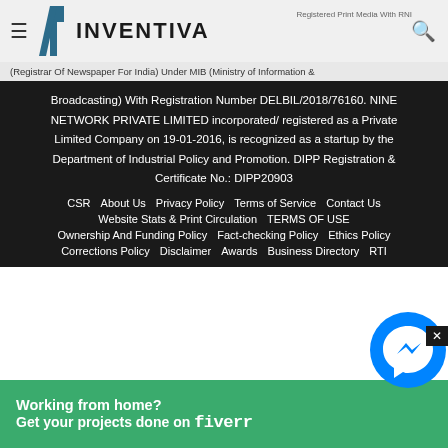INVENTIVA — Registered Print Media With RNI (Registrar Of Newspaper For India) Under MIB (Ministry of Information & Broadcasting) With Registration Number DELBIL/2018/76160. NINE NETWORK PRIVATE LIMITED incorporated/ registered as a Private Limited Company on 19-01-2016, is recognized as a startup by the Department of Industrial Policy and Promotion. DIPP Registration & Certificate No.: DIPP20903
Broadcasting) With Registration Number DELBIL/2018/76160. NINE NETWORK PRIVATE LIMITED incorporated/ registered as a Private Limited Company on 19-01-2016, is recognized as a startup by the Department of Industrial Policy and Promotion. DIPP Registration & Certificate No.: DIPP20903
CSR | About Us | Privacy Policy | Terms of Service | Contact Us
Website Stats & Print Circulation | TERMS OF USE
Ownership And Funding Policy | Fact-checking Policy | Ethics Policy
Corrections Policy | Disclaimer | Awards | Business Directory | RTI
[Figure (other): Advertisement banner: Working from home? Get your projects done on fiverr]
[Figure (other): Facebook Messenger chat bubble icon, blue circular button with lightning bolt]